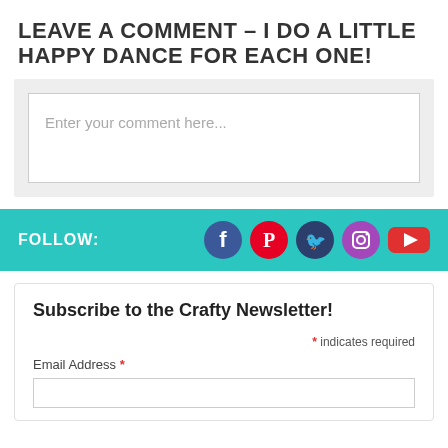LEAVE A COMMENT - I DO A LITTLE HAPPY DANCE FOR EACH ONE!
[Figure (screenshot): Comment text area input box with placeholder text 'Enter your comment here...' on a light grey background]
FOLLOW:
[Figure (infographic): Social media icons: Facebook (dark blue circle), Pinterest (red circle), Twitter (dark blue bird), Instagram (purple circle), YouTube (red rectangle)]
Subscribe to the Crafty Newsletter!
* indicates required
Email Address *
[Figure (screenshot): Empty email address input field]